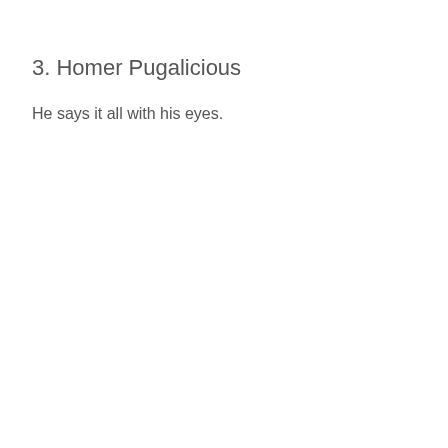3. Homer Pugalicious
He says it all with his eyes.